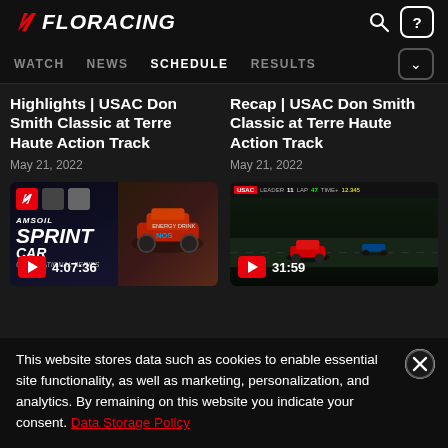[Figure (screenshot): FloRacing website header with logo, search icon, and help icon on dark background]
[Figure (screenshot): Navigation bar with WATCH, NEWS, SCHEDULE (active), RESULTS, and dropdown button]
Highlights | USAC Don Smith Classic at Terre Haute Action Track
May 21, 2022
Recap | USAC Don Smith Classic at Terre Haute Action Track
May 21, 2022
[Figure (screenshot): Video thumbnail for AMSOIL Sprint Car highlights video, duration 4:07:36]
[Figure (screenshot): Video thumbnail for race recap video, duration 31:59]
This website stores data such as cookies to enable essential site functionality, as well as marketing, personalization, and analytics. By remaining on this website you indicate your consent. Data Storage Policy